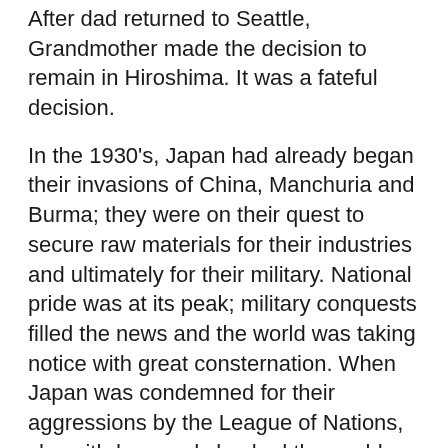After dad returned to Seattle, Grandmother made the decision to remain in Hiroshima. It was a fateful decision.
In the 1930's, Japan had already began their invasions of China, Manchuria and Burma; they were on their quest to secure raw materials for their industries and ultimately for their military. National pride was at its peak; military conquests filled the news and the world was taking notice with great consternation. When Japan was condemned for their aggressions by the League of Nations, she withdrew and shocked the world.
The threat of war with America loomed. Anti-Japanese sentiment grew – Americans in Seattle routinely harassed or even attacked Japanese in public. Unfortunately, many of the "Japanese" they harassed were American citizens like my dad, uncles and aunts. Some young Nisei girls were also groped, molested or raped.  Folks knew where Hawai'i was at this time but